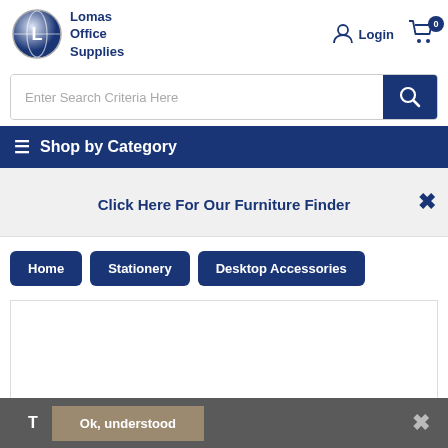[Figure (logo): Lomas Office Supplies logo with globe icon and company name in blue]
[Figure (screenshot): Login icon (person silhouette) with Login text]
[Figure (screenshot): Shopping cart icon with badge showing 0 items]
Enter Search Criteria Here
≡ Shop by Category
Click Here For Our Furniture Finder
Home
Stationery
Desktop Accessories
T
Ok, understood